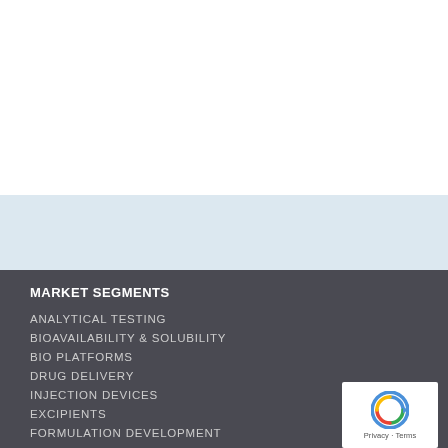MARKET SEGMENTS
ANALYTICAL TESTING
BIOAVAILABILITY & SOLUBILITY
BIO PLATFORMS
DRUG DELIVERY
INJECTION DEVICES
EXCIPIENTS
FORMULATION DEVELOPMENT
CONTRACT SERVICES
CORPORATE
SUBMISSION GUIDELINES
ABOUT US
[Figure (logo): reCAPTCHA badge with Privacy and Terms text]